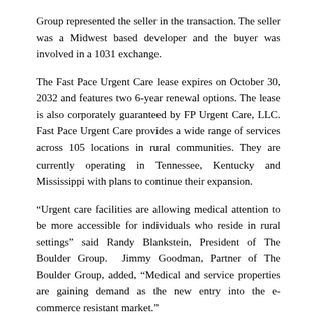Group represented the seller in the transaction. The seller was a Midwest based developer and the buyer was involved in a 1031 exchange.
The Fast Pace Urgent Care lease expires on October 30, 2032 and features two 6-year renewal options. The lease is also corporately guaranteed by FP Urgent Care, LLC. Fast Pace Urgent Care provides a wide range of services across 105 locations in rural communities. They are currently operating in Tennessee, Kentucky and Mississippi with plans to continue their expansion.
“Urgent care facilities are allowing medical attention to be more accessible for individuals who reside in rural settings” said Randy Blankstein, President of The Boulder Group.  Jimmy Goodman, Partner of The Boulder Group, added, “Medical and service properties are gaining demand as the new entry into the e-commerce resistant market.”